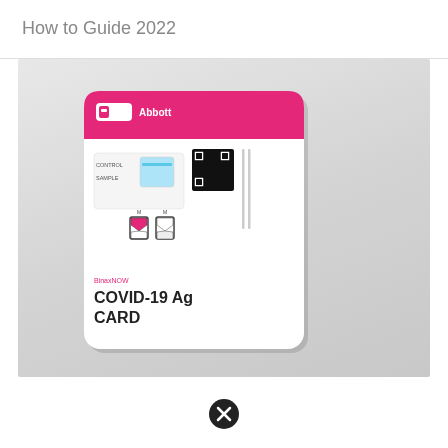How to Guide 2022
[Figure (photo): Abbott BinaxNOW COVID-19 Ag Card rapid antigen test device shown as a white plastic card with pink/magenta header strip, Abbott logo, CONTROL and SAMPLE labels, two hourglass-shaped icons, a QR code, and text reading BinaxNOW COVID-19 Ag CARD]
[Figure (other): Black circle with X icon (close/error button)]